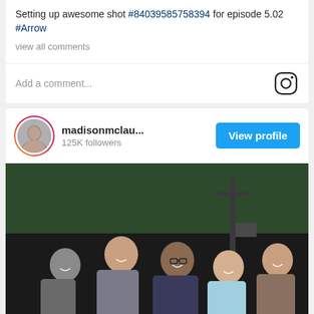Setting up awesome shot #84039585758394 for episode 5.02 #Arrow
view all comments
Add a comment...
madisonmclau... 125K followers
View profile
[Figure (photo): Group photo of five people smiling on what appears to be a TV show set with a dark green background and film equipment visible]